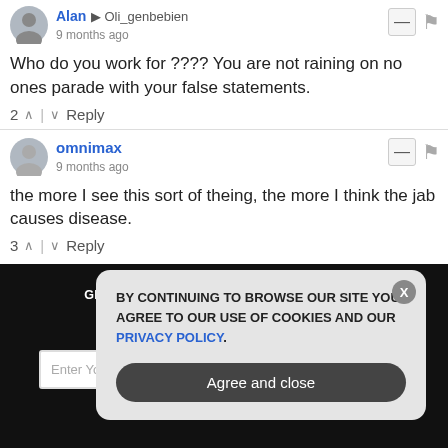Alan → Oli_genbebien
9 months ago
Who do you work for ???? You are not raining on no ones parade with your false statements.
2 ↑ | ↓ Reply
omnimax
9 months ago
the more I see this sort of theing, the more I think the jab causes disease.
3 ↑ | ↓ Reply
GET THE WORLD'S BEST NATURAL HEALTH NEWSLETTER DELIVERED STRAIGHT TO YOUR INBOX
BY CONTINUING TO BROWSE OUR SITE YOU AGREE TO OUR USE OF COOKIES AND OUR PRIVACY POLICY.
Agree and close